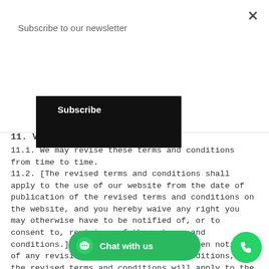Subscribe to our newsletter
Subscribe
11. Variation
11.1. We may revise these terms and conditions from time to time.
11.2. [The revised terms and conditions shall apply to the use of our website from the date of publication of the revised terms and conditions on the website, and you hereby waive any right you may otherwise have to be notified of, or to consent to, revisions of these terms and conditions.] OR [We will give you written notice of any revision of these terms and conditions, and the revised terms and conditions will apply to the use of our website from the date that we give you such notice; if you do not agree to the revised terms and conditions, you must stop using our website.]
11.3. If you have give ment to these